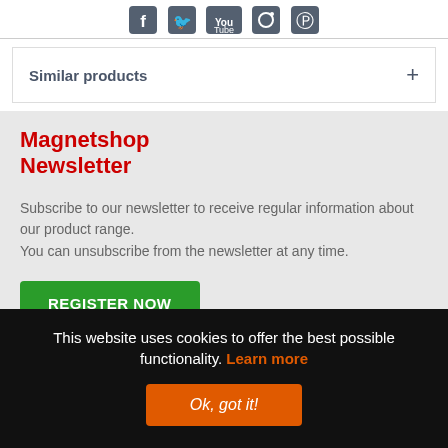[Figure (infographic): Social media icons: Facebook, Twitter, YouTube, Instagram, Pinterest]
Similar products +
Magnetshop Newsletter
Subscribe to our newsletter to receive regular information about our product range.
You can unsubscribe from the newsletter at any time.
REGISTER NOW
This website uses cookies to offer the best possible functionality. Learn more
Ok, got it!